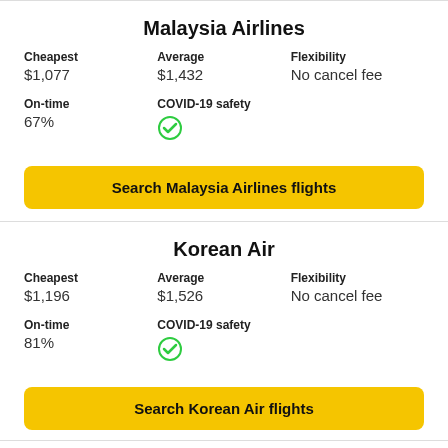Malaysia Airlines
Cheapest: $1,077 | Average: $1,432 | Flexibility: No cancel fee
On-time: 67% | COVID-19 safety: checkmark
Search Malaysia Airlines flights
Korean Air
Cheapest: $1,196 | Average: $1,526 | Flexibility: No cancel fee
On-time: 81% | COVID-19 safety: checkmark
Search Korean Air flights